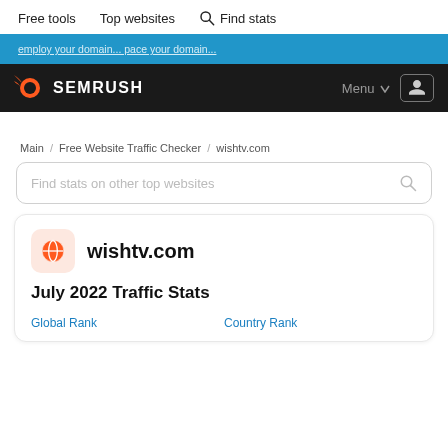Free tools   Top websites   Find stats
employ...your domain...
[Figure (logo): Semrush logo with orange comet icon and white SEMRUSH text on black nav bar. Menu dropdown and user icon on right.]
Main / Free Website Traffic Checker / wishtv.com
Find stats on other top websites
wishtv.com
July 2022 Traffic Stats
Global Rank   Country Rank